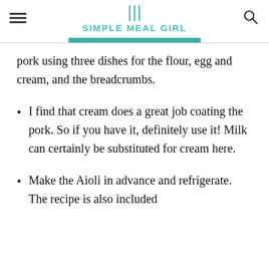SIMPLE MEAL GIRL
pork using three dishes for the flour, egg and cream, and the breadcrumbs.
I find that cream does a great job coating the pork. So if you have it, definitely use it! Milk can certainly be substituted for cream here.
Make the Aioli in advance and refrigerate. The recipe is also included